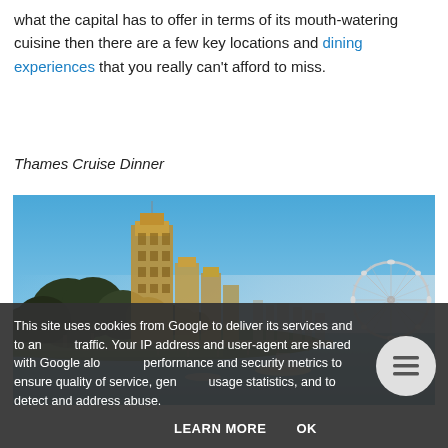what the capital has to offer in terms of its mouth-watering cuisine then there are a few key locations and dining experiences that you really can't afford to miss.
Thames Cruise Dinner
[Figure (photo): A view of the River Thames with the Houses of Parliament (Victoria Tower) on the left, trees along the embankment, a bridge in the middle distance, and the London Eye Ferris wheel on the right, under a clear blue sky.]
This site uses cookies from Google to deliver its services and to analyze traffic. Your IP address and user-agent are shared with Google along with performance and security metrics to ensure quality of service, generate usage statistics, and to detect and address abuse.
LEARN MORE   OK